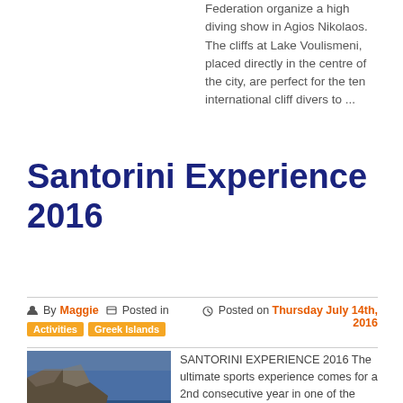Federation organize a high diving show in Agios Nikolaos. The cliffs at Lake Voulismeni, placed directly in the centre of the city, are perfect for the ten international cliff divers to ...
Santorini Experience 2016
By Maggie  Posted in  Activities  Greek Islands  Posted on Thursday July 14th, 2016
[Figure (photo): Aerial or water-level photo of rocky coastal cliffs with sea water in the foreground, likely Santorini sea cliffs.]
SANTORINI EXPERIENCE 2016 The ultimate sports experience comes for a 2nd consecutive year in one of the most significant